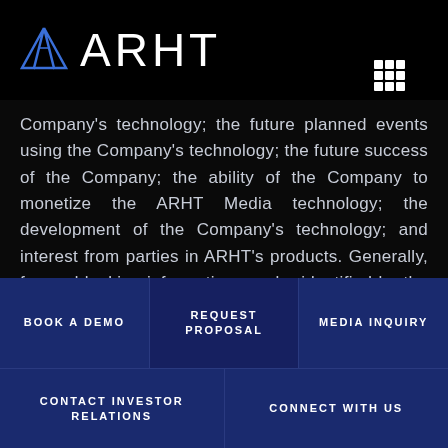[Figure (logo): ARHT logo with blue triangle/delta shape and text ARHT, plus grid icon in top-right corner]
Company’s technology; the future planned events using the Company’s technology; the future success of the Company; the ability of the Company to monetize the ARHT Media technology; the development of the Company’s technology; and interest from parties in ARHT’s products. Generally, forward-looking information can be identified by the use of forward-looking terminology such as “plans”, “expects” or “does not expect”, “is expected”, “budget”, “scheduled”, “estimates”, “forecasts”,
BOOK A DEMO | REQUEST PROPOSAL | MEDIA INQUIRY | CONTACT INVESTOR RELATIONS | CONNECT WITH US